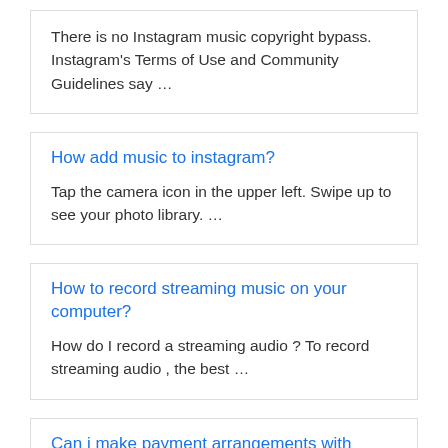There is no Instagram music copyright bypass. Instagram's Terms of Use and Community Guidelines say …
How add music to instagram?
Tap the camera icon in the upper left. Swipe up to see your photo library. …
How to record streaming music on your computer?
How do I record a streaming audio ? To record streaming audio , the best …
Can i make payment arrangements with metro